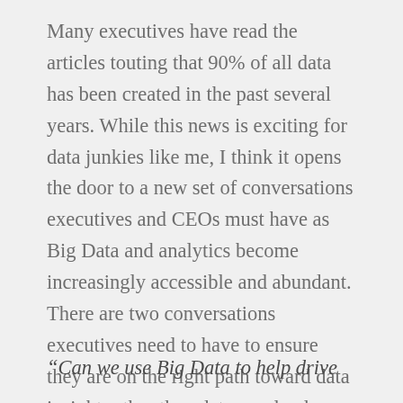Many executives have read the articles touting that 90% of all data has been created in the past several years. While this news is exciting for data junkies like me, I think it opens the door to a new set of conversations executives and CEOs must have as Big Data and analytics become increasingly accessible and abundant. There are two conversations executives need to have to ensure they are on the right path toward data insight rather than data overload.
“Can we use Big Data to help drive…